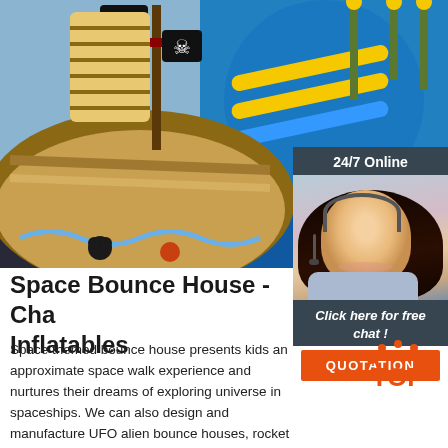[Figure (photo): Inflatable pirate ship bounce house with mast, skull-and-crossbones flag, and water slide in the background]
[Figure (photo): Customer service representative sidebar widget showing a woman with a headset, '24/7 Online' header, 'Click here for free chat!' text, and an orange QUOTATION button]
Space Bounce House - Cha... Inflatables
Space themed bounce house presents kids an approximate space walk experience and nurtures their dreams of exploring universe in spaceships. We can also design and manufacture UFO alien bounce houses, rocket ship and space shuttle bounce houses